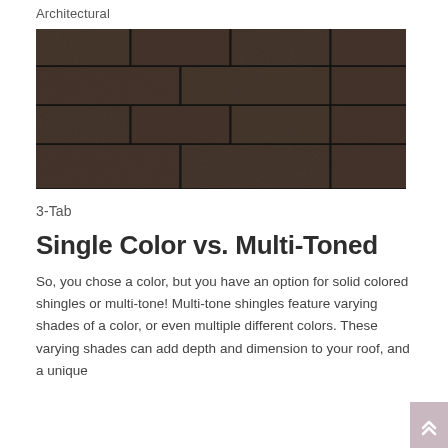Architectural
[Figure (photo): Close-up photo of dark charcoal/black architectural roof shingles arranged in overlapping rows showing a grid-like pattern]
3-Tab
Single Color vs. Multi-Toned
So, you chose a color, but you have an option for solid colored shingles or multi-tone! Multi-tone shingles feature varying shades of a color, or even multiple different colors. These varying shades can add depth and dimension to your roof, and a unique